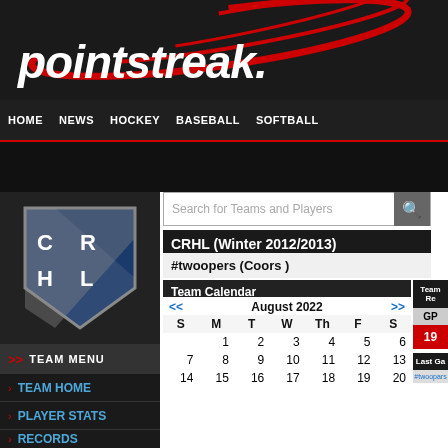[Figure (logo): Pointstreak logo with red swoosh and italic white text on dark background]
HOME  NEWS  HOCKEY  BASEBALL  SOFTBALL
[Figure (logo): CRHL team shield logo with letters C R H L on blue/grey shield]
CRHL (Winter 2012/2013)
#twoopers (Coors )
Team Calendar
| S | M | T | W | Th | F | S |
| --- | --- | --- | --- | --- | --- | --- |
|  | 1 | 2 | 3 | 4 | 5 | 6 |
| 7 | 8 | 9 | 10 | 11 | 12 | 13 |
| 14 | 15 | 16 | 17 | 18 | 19 | 20 |
TEAM HOME
PLAYER STATS
RECORDS
SCHEDULE